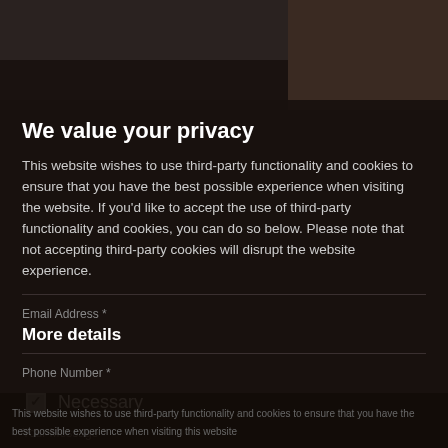We value your privacy
This website wishes to use third-party functionality and cookies to ensure that you have the best possible experience when visiting the website. If you'd like to accept the use of third-party functionality and cookies, you can do so below. Please note that not accepting third-party cookies will disrupt the website experience.
Email Address *
More details
Phone Number *
Necessary
Your Message *
Third-party cookies
Accept selected
Accept all